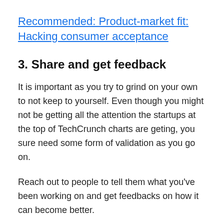Recommended: Product-market fit: Hacking consumer acceptance
3. Share and get feedback
It is important as you try to grind on your own to not keep to yourself. Even though you might not be getting all the attention the startups at the top of TechCrunch charts are geting, you sure need some form of validation as you go on.
Reach out to people to tell them what you've been working on and get feedbacks on how it can become better.